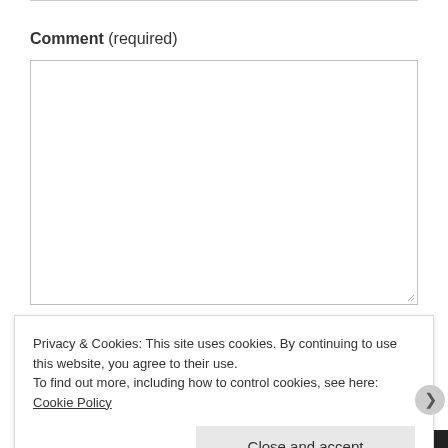Comment (required)
[Figure (screenshot): Empty comment textarea input box with resize handle at bottom right]
[Figure (screenshot): Submit button in teal/green color with white text]
Privacy & Cookies: This site uses cookies. By continuing to use this website, you agree to their use.
To find out more, including how to control cookies, see here: Cookie Policy
Close and accept